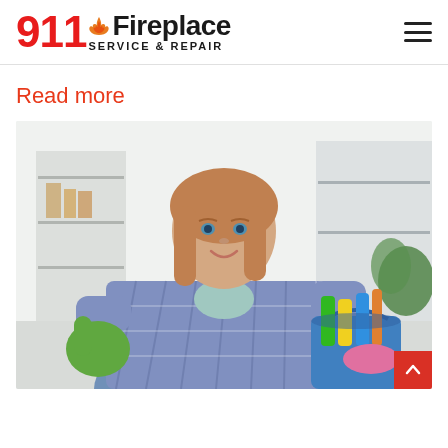911 Fireplace SERVICE & REPAIR
Read more
[Figure (photo): A smiling woman in a blue plaid shirt wearing green rubber gloves, giving a thumbs up and holding a blue bucket filled with cleaning supplies including spray bottles and a pink cloth, in a bright indoor setting.]